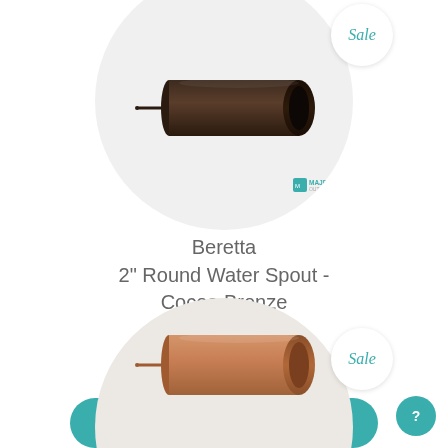[Figure (photo): Dark bronze/cocoa colored round water spout tube shown at an angle inside a circular white product image frame. A small MAJET brand logo is visible in the lower right of the circle. A 'Sale' badge circle is in the top right.]
Beretta
2" Round Water Spout - Cocoa Bronze
$169.95 $145.95
See More Details & Buy
[Figure (photo): Copper/rose gold colored round water spout tube shown at an angle inside a circular product image frame (partially visible at bottom of page). A 'Sale' badge circle is visible at top right.]